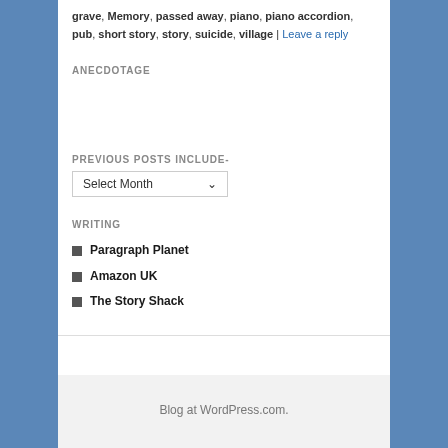grave, Memory, passed away, piano, piano accordion, pub, short story, story, suicide, village | Leave a reply
ANECDOTAGE
PREVIOUS POSTS INCLUDE-
Select Month
WRITING
Paragraph Planet
Amazon UK
The Story Shack
Blog at WordPress.com.